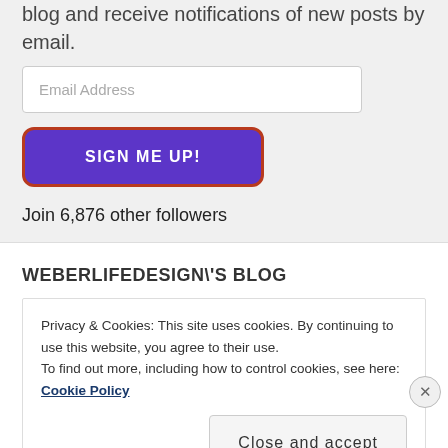blog and receive notifications of new posts by email.
Email Address
SIGN ME UP!
Join 6,876 other followers
WEBERLIFEDESIGN\'S BLOG
Privacy & Cookies: This site uses cookies. By continuing to use this website, you agree to their use.
To find out more, including how to control cookies, see here: Cookie Policy
Close and accept